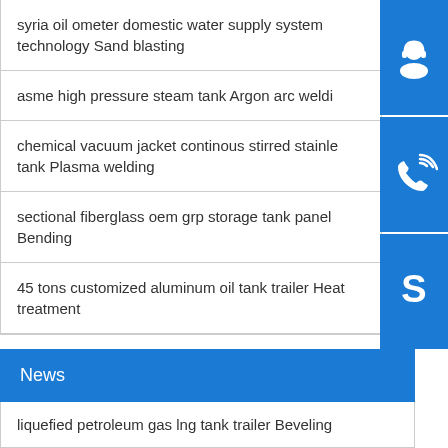syria oil ometer domestic water supply system technology Sand blasting
asme high pressure steam tank Argon arc weldi
chemical vacuum jacket continous stirred stainle tank Plasma welding
sectional fiberglass oem grp storage tank panel Bending
45 tons customized aluminum oil tank trailer Heat treatment
[Figure (infographic): Three square blue icon buttons stacked vertically on the right side: headset/support icon, phone/call icon, Skype icon]
News
liquefied petroleum gas lng tank trailer Beveling